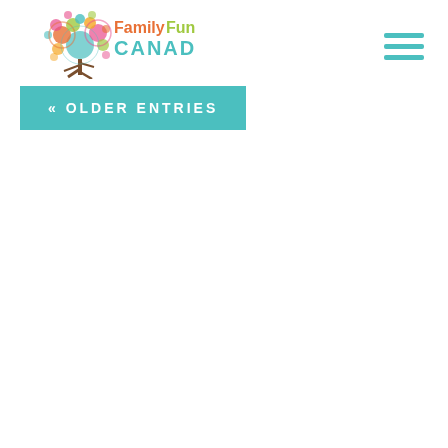FamilyFun CANADA
[Figure (logo): FamilyFun Canada logo with a colorful tree made of circles and the text FamilyFun in red/green and CANADA in teal letters]
« OLDER ENTRIES